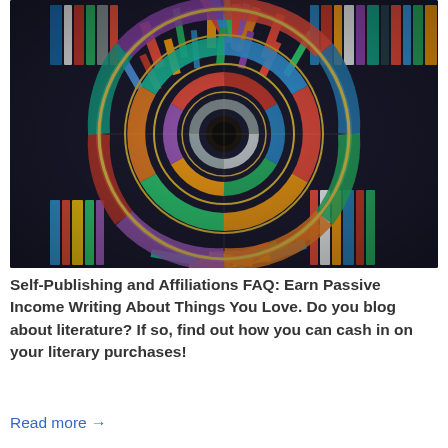[Figure (photo): A spiral arrangement of colorful books arranged in concentric circles creating a vortex/tunnel effect, viewed from above. Books are arranged radially in multiple rings, showing spines in many colors including red, blue, green, white, and multicolored. The center converges to a small dark point.]
Self-Publishing and Affiliations FAQ: Earn Passive Income Writing About Things You Love. Do you blog about literature? If so, find out how you can cash in on your literary purchases!
Read more →